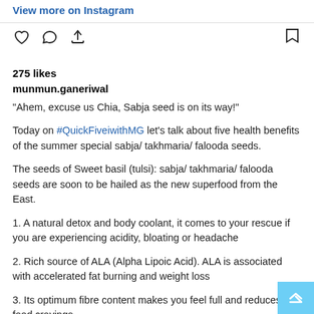View more on Instagram
[Figure (other): Instagram action icons: heart (like), comment bubble, share/upload arrow, and bookmark icon]
275 likes
munmun.ganeriwal
“Ahem, excuse us Chia, Sabja seed is on its way!”

Today on #QuickFiveiwithMG let’s talk about five health benefits of the summer special sabja/ takhmaria/ falooda seeds.

The seeds of Sweet basil (tulsi): sabja/ takhmaria/ falooda seeds are soon to be hailed as the new superfood from the East.

1. A natural detox and body coolant, it comes to your rescue if you are experiencing acidity, bloating or headache

2. Rich source of ALA (Alpha Lipoic Acid). ALA is associated with accelerated fat burning and weight loss

3. Its optimum fibre content makes you feel full and reduces food cravings